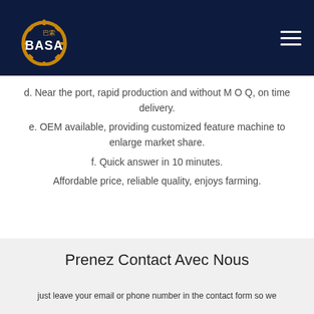BASA logo and navigation
d. Near the port, rapid production and without M O Q, on time delivery.
e. OEM available, providing customized feature machine to enlarge market share.
f. Quick answer in 10 minutes.
Affordable price, reliable quality, enjoys farming.
Prenez Contact Avec Nous
just leave your email or phone number in the contact form so we